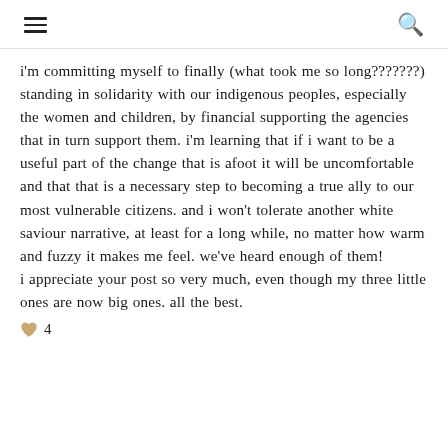≡  🔍
i'm committing myself to finally (what took me so long???????) standing in solidarity with our indigenous peoples, especially the women and children, by financial supporting the agencies that in turn support them. i'm learning that if i want to be a useful part of the change that is afoot it will be uncomfortable and that that is a necessary step to becoming a true ally to our most vulnerable citizens. and i won't tolerate another white saviour narrative, at least for a long while, no matter how warm and fuzzy it makes me feel. we've heard enough of them!
i appreciate your post so very much, even though my three little ones are now big ones. all the best.
♥ 4